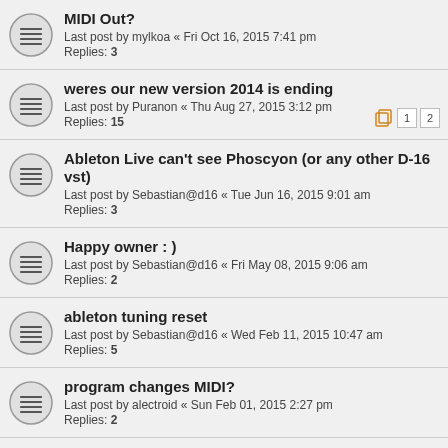MIDI Out?
Last post by mylkoa « Fri Oct 16, 2015 7:41 pm
Replies: 3
weres our new version 2014 is ending
Last post by Puranon « Thu Aug 27, 2015 3:12 pm
Replies: 15
Ableton Live can't see Phoscyon (or any other D-16 vst)
Last post by Sebastian@d16 « Tue Jun 16, 2015 9:01 am
Replies: 3
Happy owner : )
Last post by Sebastian@d16 « Fri May 08, 2015 9:06 am
Replies: 2
ableton tuning reset
Last post by Sebastian@d16 « Wed Feb 11, 2015 10:47 am
Replies: 5
program changes MIDI?
Last post by alectroid « Sun Feb 01, 2015 2:27 pm
Replies: 2
Ableton live crashes
Last post by Sebastian@d16 « Fri Oct 16, 2015 9:41 ...